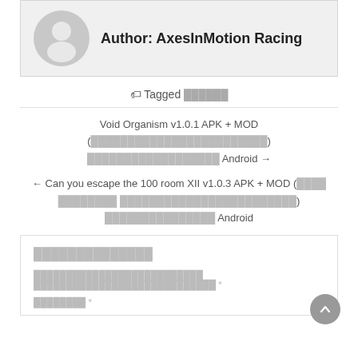[Figure (illustration): Gray circular avatar/profile icon with silhouette of a person]
Author: AxesInMotion Racing
Tagged ██████
Void Organism v1.0.1 APK + MOD (████████████████████████) ██████████████████ Android →
← Can you escape the 100 room XII v1.0.3 APK + MOD (████ ████████ ████████████████████████) ███████████████ Android
██████████████
██████████████████████████ ████████████████████████████ *
████████ *